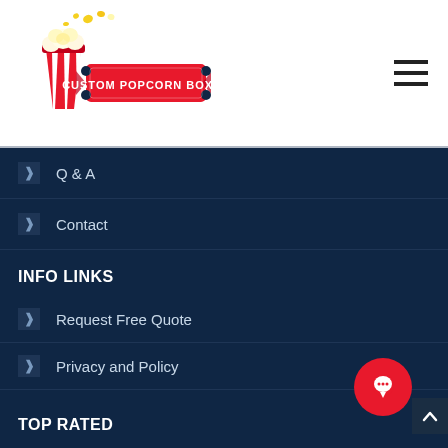[Figure (logo): Custom Popcorn Boxes logo with popcorn bucket illustration and red movie ticket banner reading CUSTOM POPCORN BOXES]
Q & A
Contact
INFO LINKS
Request Free Quote
Privacy and Policy
Terms and Conditions
TOP RATED